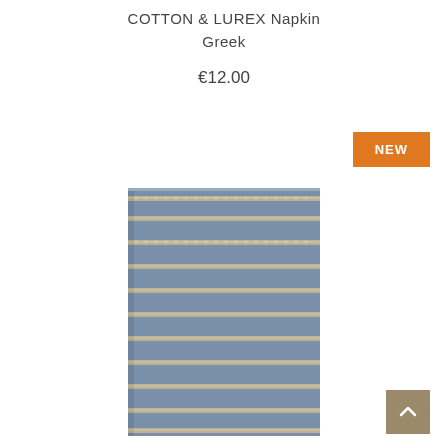COTTON & LUREX Napkin
Greek
€12.00
[Figure (photo): Blue and beige striped cotton and lurex napkin, folded, showing horizontal woven stripe pattern]
NEW